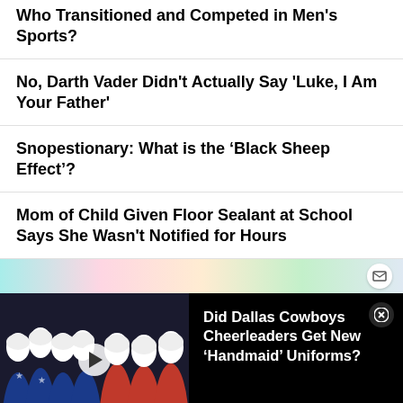Who Transitioned and Competed in Men's Sports?
No, Darth Vader Didn't Actually Say 'Luke, I Am Your Father'
Snopestionary: What is the ‘Black Sheep Effect’?
Mom of Child Given Floor Sealant at School Says She Wasn't Notified for Hours
[Figure (screenshot): Rainbow gradient bar with email icon]
[Figure (photo): Video card with handmaid figures in blue and red robes, with overlay text: Did Dallas Cowboys Cheerleaders Get New ‘Handmaid’ Uniforms?]
[Figure (screenshot): Rainbow gradient bar with star icon and partial image at bottom]